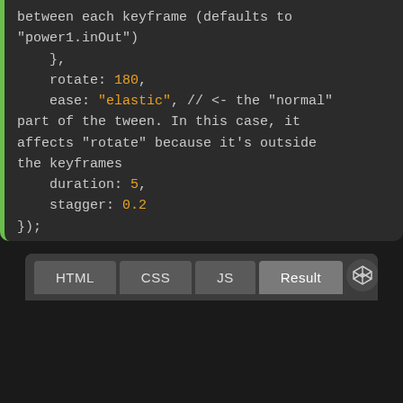between each keyframe (defaults to "power1.inOut")
    },
    rotate: 180,
    ease: "elastic", // <- the "normal" part of the tween. In this case, it affects "rotate" because it's outside the keyframes
    duration: 5,
    stagger: 0.2
});
[Figure (screenshot): CodePen-style editor panel with tabs: HTML, CSS, JS, Result (active). Dark gray background with a CodePen logo icon on the right. Below the tabs is a dark/black result preview area.]